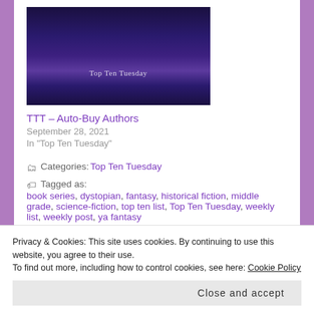[Figure (photo): Dark purple/blue galaxy or nebula background image with text 'Top Ten Tuesday' overlaid in light gray/white font]
TTT – Auto-Buy Authors
September 28, 2021
In "Top Ten Tuesday"
Categories: Top Ten Tuesday
Tagged as: book series, dystopian, fantasy, historical fiction, middle grade, science-fiction, top ten list, Top Ten Tuesday, weekly list, weekly post, ya fantasy
Privacy & Cookies: This site uses cookies. By continuing to use this website, you agree to their use.
To find out more, including how to control cookies, see here: Cookie Policy
Close and accept